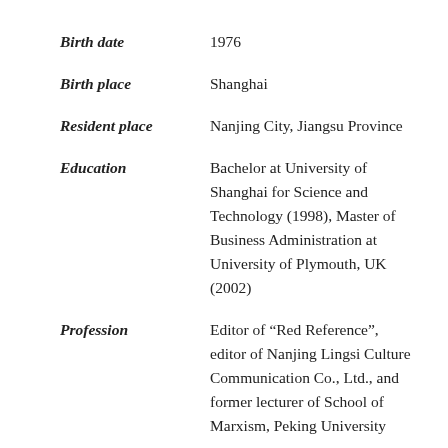Birth date: 1976
Birth place: Shanghai
Resident place: Nanjing City, Jiangsu Province
Education: Bachelor at University of Shanghai for Science and Technology (1998), Master of Business Administration at University of Plymouth, UK (2002)
Profession: Editor of “Red Reference”, editor of Nanjing Lingsi Culture Communication Co., Ltd., and former lecturer of School of Marxism, Peking University